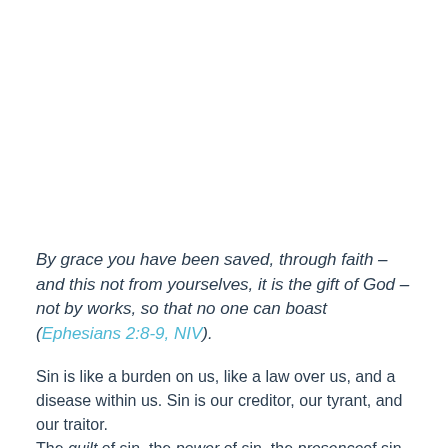By grace you have been saved, through faith – and this not from yourselves, it is the gift of God – not by works, so that no one can boast (Ephesians 2:8-9, NIV).
Sin is like a burden on us, like a law over us, and a disease within us. Sin is our creditor, our tyrant, and our traitor. The guilt of sin, the power of sin, the presence of sin can only be dealt with by Jesus Christ and his Gospel.